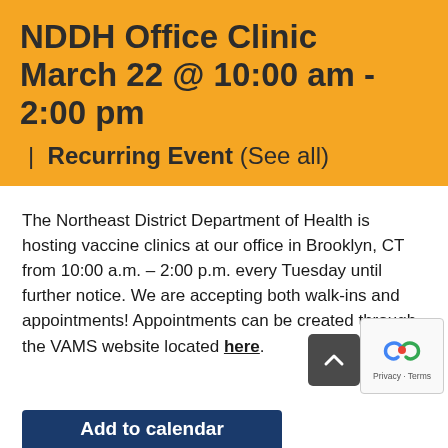NDDH Office Clinic March 22 @ 10:00 am - 2:00 pm | Recurring Event (See all)
The Northeast District Department of Health is hosting vaccine clinics at our office in Brooklyn, CT from 10:00 a.m. – 2:00 p.m. every Tuesday until further notice. We are accepting both walk-ins and appointments! Appointments can be created through the VAMS website located here.